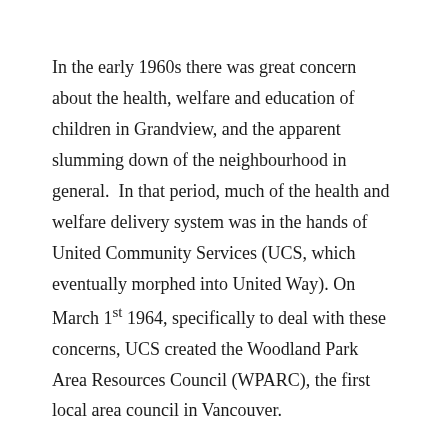In the early 1960s there was great concern about the health, welfare and education of children in Grandview, and the apparent slumming down of the neighbourhood in general.  In that period, much of the health and welfare delivery system was in the hands of United Community Services (UCS, which eventually morphed into United Way). On March 1st 1964, specifically to deal with these concerns, UCS created the Woodland Park Area Resources Council (WPARC), the first local area council in Vancouver.
In the beginning, the WPARC was composed of health, welfare and education professionals, and they produced a number of useful reports.  It was the vanguard of a